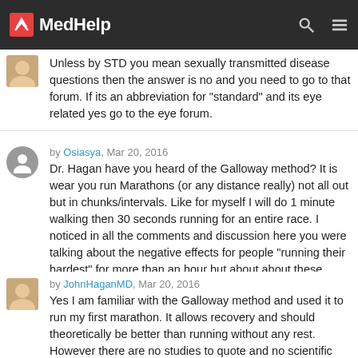MedHelp
Unless by STD you mean sexually transmitted disease questions then the answer is no and you need to go to that forum. If its an abbreviation for "standard" and its eye related yes go to the eye forum.
by Osiasya, Mar 20, 2016
Dr. Hagan have you heard of the Galloway method? It is wear you run Marathons (or any distance really) not all out but in chunks/intervals. Like for myself I will do 1 minute walking then 30 seconds running for an entire race. I noticed in all the comments and discussion here you were talking about the negative effects for people "running their hardest" for more than an hour but about about these intervals where you are not running at top speed the entire time? Basically what I am asking is; Do you think people who run using the Galloway method are also at a higher risk of damage if they do more than 10k's? Thanks in advance for your time!
by JohnHaganMD, Mar 20, 2016
Yes I am familiar with the Galloway method and used it to run my first marathon. It allows recovery and should theoretically be better than running without any rest. However there are no studies to quote and no scientific literature on the subject. So if you're going to run longer than an hour, especially after age 40, taking these frequent walking breaks is a good idea. JCH MD